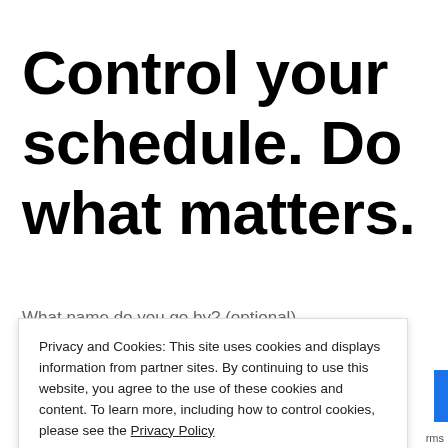Control your schedule. Do what matters.
What name do you go by? (optional)
Privacy and Cookies: This site uses cookies and displays information from partner sites. By continuing to use this website, you agree to the use of these cookies and content. To learn more, including how to control cookies, please see the Privacy Policy
Close and accept